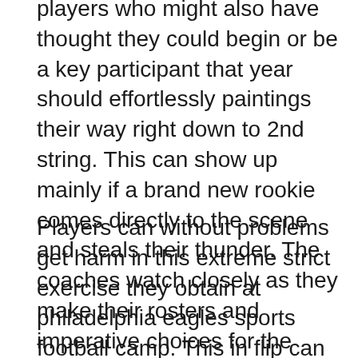players who might also have thought they could begin or be a key participant that year should effortlessly paintings their way right down to 2nd string. This can show up mainly if a brand new rookie comes directly to the scene and steals their thunder. The coaches watch closely as they make their rosters and imperative choices for the approaching season.
Players can without problems get harm in this extreme strict exercise they obtain at philadelphia eagles sports football camp. This in flip can also provide a 2nd string player or rookie a risk to transport into the starting lineup, or even start a few more video games than they predicted. The coaches have a perfect opportunity to weed out the weaker gamers and prepare performs for the approaching season. In addition they have the chance to get to recognize the players better on a